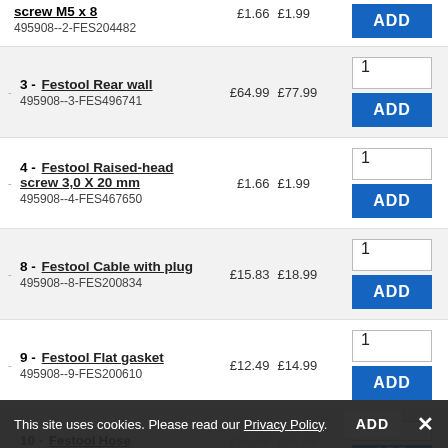| Item | SKU | Ex VAT | Inc VAT | Qty | Action |
| --- | --- | --- | --- | --- | --- |
| screw M5 x 8 | 495908--2-FES204482 | £1.66 | £1.99 | 1 | ADD |
| 3 - Festool Rear wall | 495908--3-FES496741 | £64.99 | £77.99 | 1 | ADD |
| 4 - Festool Raised-head screw 3,0 X 20 mm | 495908--4-FES467650 | £1.66 | £1.99 | 1 | ADD |
| 8 - Festool Cable with plug | 495908--8-FES200834 | £15.83 | £18.99 | 1 | ADD |
| 9 - Festool Flat gasket | 495908--9-FES200610 | £12.49 | £14.99 | 1 | ADD |
| 10 - Festool Hose | ... | ... | ... | 1 | ADD |
This site uses cookies. Please read our Privacy Policy.